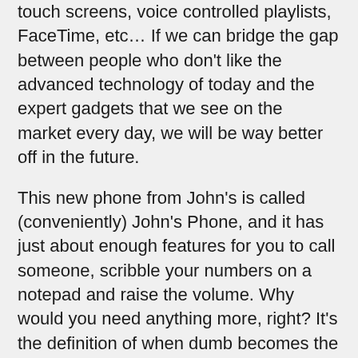touch screens, voice controlled playlists, FaceTime, etc… If we can bridge the gap between people who don't like the advanced technology of today and the expert gadgets that we see on the market every day, we will be way better off in the future.
This new phone from John's is called (conveniently) John's Phone, and it has just about enough features for you to call someone, scribble your numbers on a notepad and raise the volume. Why would you need anything more, right? It's the definition of when dumb becomes the new smart. It comes in 5 different colors (snow, tree, sweet, business and grass) and costs between €69,95 and €79,95. So if you're sick of always trying to stay up to date with your cell phone and would like a simpler more time saving lifestyle, then I suggest you get one of these. Set a new trend, and make people envy you cause you're the